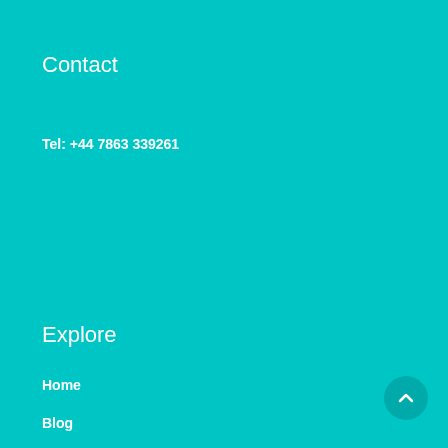Contact
Tel: +44 7863 339261
Office Hours
Monday - Friday - 10:00 - 20:00
Saturday - Closed
Sunday - Closed
Explore
Home
Blog
Connect with me
Use the buttons below to connect with me, then join my list above.